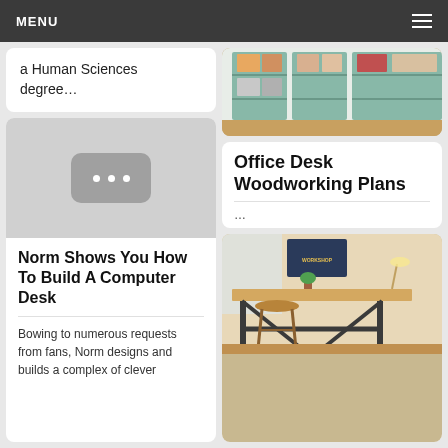MENU
a Human Sciences degree…
[Figure (screenshot): Gray video thumbnail placeholder with three white dots on a rounded dark rectangle]
Norm Shows You How To Build A Computer Desk
Bowing to numerous requests from fans, Norm designs and builds a complex of clever
[Figure (photo): Photo of white/mint cubby shelving unit with baskets and boxes on wooden floor]
Office Desk Woodworking Plans
…
[Figure (photo): Photo of a standing desk with wooden top and black pipe legs with a barstool, in a warmly lit workshop]